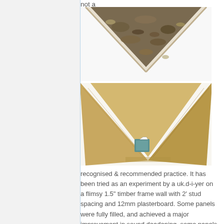not a
[Figure (photo): Triangular V-shaped cavity filled with debris, rubble, and dried leaves — viewed from above showing the interior of a wall cavity or roof junction.]
[Figure (photo): Triangular V-shaped cardboard or MDF former with a small square box/block object (possibly an insulation batt or material sample) placed at the bottom point, viewed from above.]
recognised & recommended practice. It has been tried as an experiment by a uk.d-i-yer on a flimsy 1.5" timber frame wall with 2' stud spacing and 12mm plasterboard. Some panels were fully filled, and achieved a major improvement in sound deadening, some panels were part filled, and were improved to an extent.